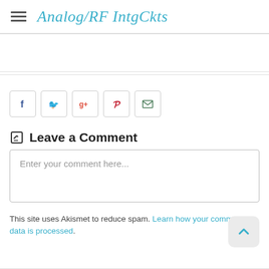Analog/RF IntgCkts
[Figure (other): Social share buttons: Facebook, Twitter, Google+, Pinterest, Email]
Leave a Comment
Enter your comment here...
This site uses Akismet to reduce spam. Learn how your comment data is processed.